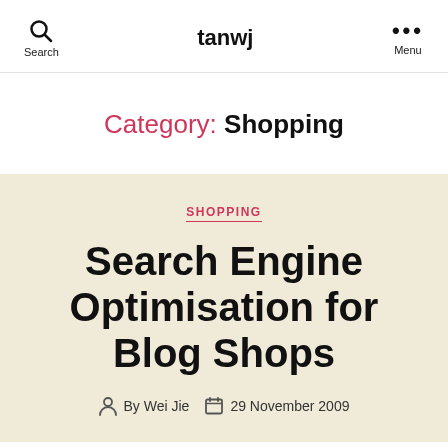tanwj
Category: Shopping
SHOPPING
Search Engine Optimisation for Blog Shops
By Wei Jie  29 November 2009